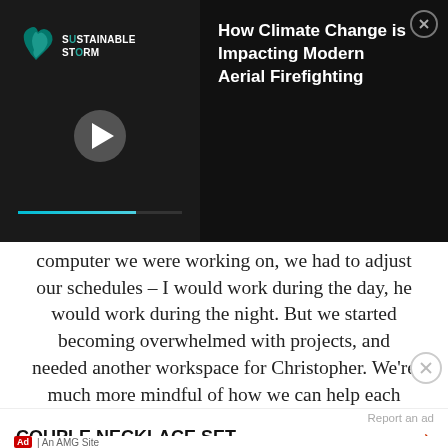[Figure (screenshot): Video thumbnail with Sustainable Storm logo and play button on dark background]
How Climate Change is Impacting Modern Aerial Firefighting
computer we were working on, we had to adjust our schedules – I would work during the day, he would work during the night. But we started becoming overwhelmed with projects, and needed another workspace for Christopher. We're much more mindful of how we can help each other out. Even filling our water tank, we do it as a team job. We could do it by ourselves, but we make it an "us" experience. It's connected us a lot more
Report an ad
COUPLE NECKLACE SET
Ad | An AMG Site